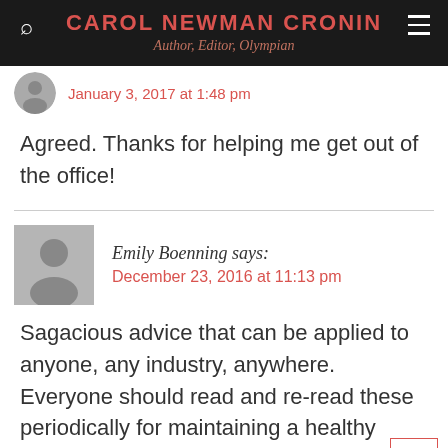CAROL NEWMAN CRONIN
Author, Editor, Olympian
January 3, 2017 at 1:48 pm
Agreed. Thanks for helping me get out of the office!
Emily Boenning says:
December 23, 2016 at 11:13 pm
Sagacious advice that can be applied to anyone, any industry, anywhere. Everyone should read and re-read these periodically for maintaining a healthy perspective.